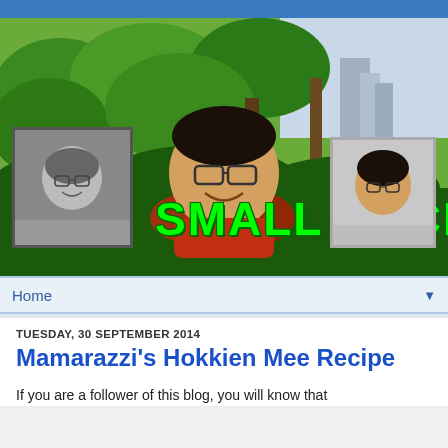[Figure (photo): Blog header banner showing a smiling boy with glasses among green plants, with two smaller portrait photos on left and right sides, and 'SMALL KUCING' text in bright green]
Home
TUESDAY, 30 SEPTEMBER 2014
Mamarazzi's Hokkien Mee Recipe
If you are a follower of this blog, you will know that